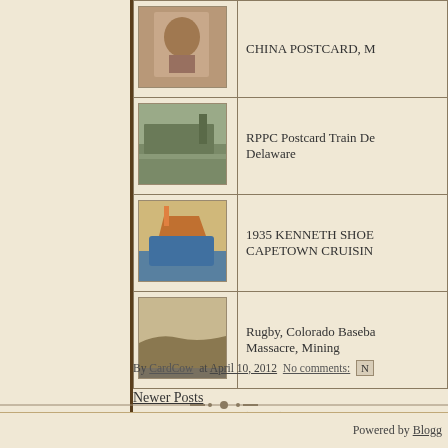[Figure (screenshot): Blog page showing postcard listing with thumbnail images and text descriptions. Contains rows of vintage postcards: China Postcard, RPPC Postcard Train Delaware, 1935 Kenneth Shoe Capetown Cruising, Rugby Colorado Baseball Massacre Mining.]
CHINA POSTCARD, M
RPPC Postcard Train De... Delaware
1935 KENNETH SHOE... CAPETOWN CRUISIN...
Rugby, Colorado Baseba... Massacre, Mining
By CardCow at April 10, 2012 No comments:
Newer Posts
Subscribe to: Posts (Atom)
Powered by Blogg...